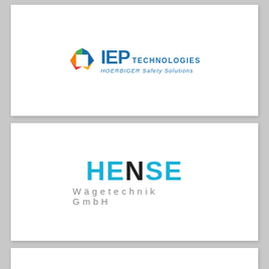[Figure (logo): IEP Technologies logo with colorful hexagon icon and text 'IEP TECHNOLOGIES HOERBIGER Safety Solutions' in blue]
[Figure (logo): HENSE Wägetechnik GmbH logo in cyan/black with stylized letters]
[Figure (logo): Partial white card at bottom, no visible content]